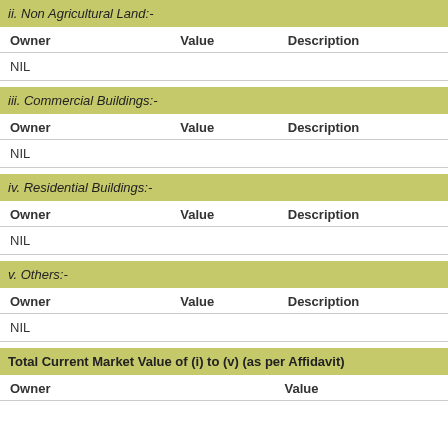ii. Non Agricultural Land:-
| Owner | Value | Description |
| --- | --- | --- |
| NIL |  |  |
iii. Commercial Buildings:-
| Owner | Value | Description |
| --- | --- | --- |
| NIL |  |  |
iv. Residential Buildings:-
| Owner | Value | Description |
| --- | --- | --- |
| NIL |  |  |
v. Others:-
| Owner | Value | Description |
| --- | --- | --- |
| NIL |  |  |
Total Current Market Value of (i) to (v) (as per Affidavit)
| Owner | Value |
| --- | --- |